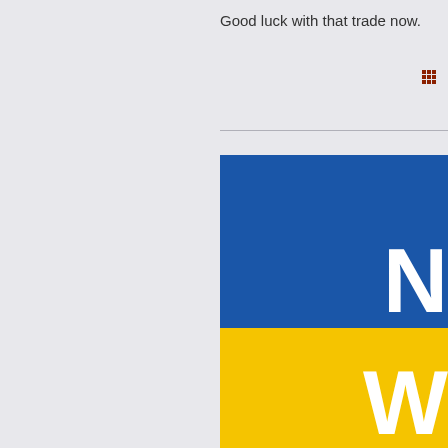Good luck with that trade now.
[Figure (illustration): Partial view of a blue and yellow image, likely a financial or news website banner. The upper portion is royal blue with a white letter 'N' partially visible at the right edge. The lower portion is bright yellow with a white letter 'W' partially visible at the right edge.]